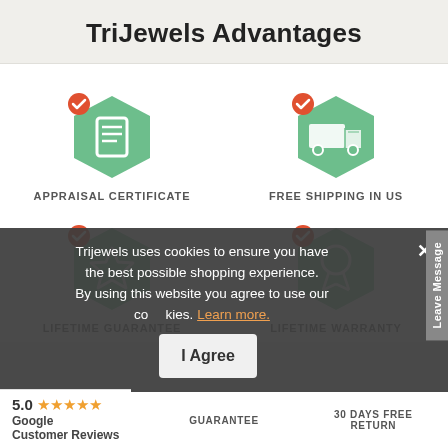TriJewels Advantages
[Figure (infographic): Green hexagon icon with checkmark badge showing a certificate/document icon, labeled APPRAISAL CERTIFICATE]
APPRAISAL CERTIFICATE
[Figure (infographic): Green hexagon icon with checkmark badge showing a delivery truck icon, labeled FREE SHIPPING IN US]
FREE SHIPPING IN US
[Figure (infographic): Green hexagon icon with checkmark badge showing a star/badge icon, labeled LIFETIME GUARANTEE]
LIFETIME GUARANTEE
[Figure (infographic): Green hexagon icon with checkmark badge showing a ribbon/medal icon, labeled LIFETIME WARRANTY]
LIFETIME WARRANTY
Trijewels uses cookies to ensure you have the best possible shopping experience. By using this website you agree to use our cookies. Learn more.
I Agree
5.0 ★★★★★ Google Customer Reviews
GUARANTEE
30 DAYS FREE RETURN
Leave Message